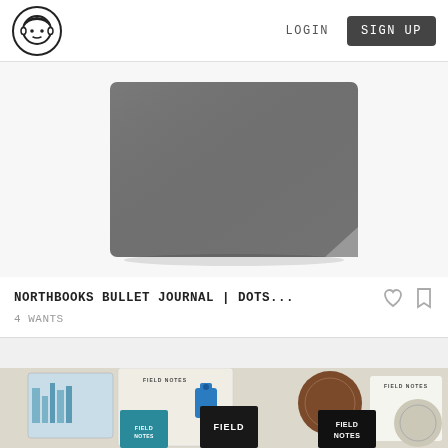LOGIN  SIGN UP
[Figure (photo): Gray leather-textured hardcover notebook/bullet journal, viewed from above at a slight angle, bottom portion visible with rounded corner]
NORTHBOOKS BULLET JOURNAL | DOTS...
4 WANTS
[Figure (photo): Field Notes brand memo books spread out showing various covers and booklets with blue illustrated designs, a dark brown circular object, and black Field Notes notebooks in the foreground]